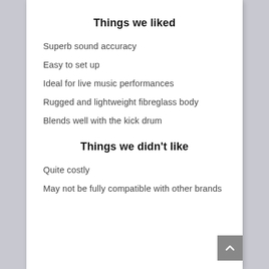Things we liked
Superb sound accuracy
Easy to set up
Ideal for live music performances
Rugged and lightweight fibreglass body
Blends well with the kick drum
Things we didn't like
Quite costly
May not be fully compatible with other brands